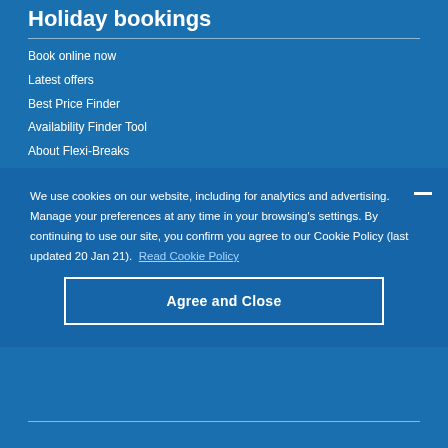Holiday bookings
Book online now
Latest offers
Best Price Finder
Availability Finder Tool
About Flexi-Breaks
We use cookies on our website, including for analytics and advertising. Manage your preferences at any time in your browsing's settings. By continuing to use our site, you confirm you agree to our Cookie Policy (last updated 20 Jan 21).  Read Cookie Policy
Agree and Close